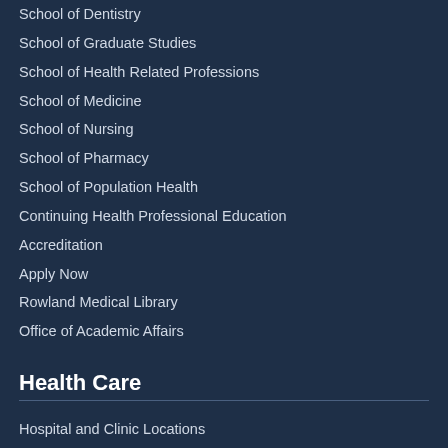School of Dentistry
School of Graduate Studies
School of Health Related Professions
School of Medicine
School of Nursing
School of Pharmacy
School of Population Health
Continuing Health Professional Education
Accreditation
Apply Now
Rowland Medical Library
Office of Academic Affairs
Health Care
Hospital and Clinic Locations
Find a Doctor
All Health Services